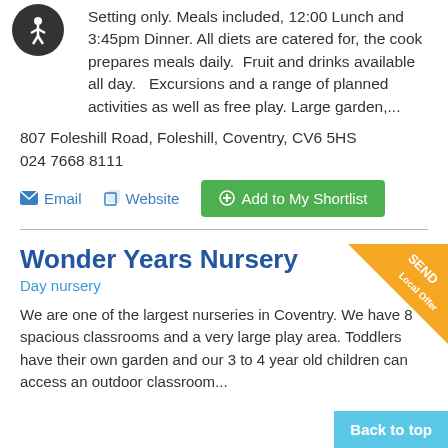Setting only. Meals included, 12:00 Lunch and 3:45pm Dinner. All diets are catered for, the cook prepares meals daily.  Fruit and drinks available all day.   Excursions and a range of planned activities as well as free play. Large garden,...
807 Foleshill Road, Foleshill, Coventry, CV6 5HS
024 7668 8111
Email   Website   Add to My Shortlist
Wonder Years Nursery
Day nursery
[Figure (illustration): SEND Local Offer orange triangle badge in top right corner]
We are one of the largest nurseries in Coventry. We have 8 spacious classrooms and a very large play area. Toddlers have their own garden and our 3 to 4 year old children can access an outdoor classroom...
Back to top